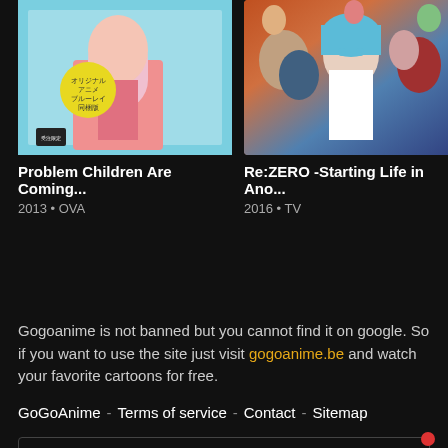[Figure (screenshot): Anime cover image for Problem Children Are Coming - colorful illustrated character with blue/teal background]
Problem Children Are Coming...
2013 • OVA
[Figure (screenshot): Anime cover image for Re:ZERO - Starting Life in Another World, featuring blue-haired character and ensemble cast]
Re:ZERO -Starting Life in Ano...
2016 • TV
Gogoanime is not banned but you cannot find it on google. So if you want to use the site just visit gogoanime.be and watch your favorite cartoons for free.
GoGoAnime - Terms of service - Contact - Sitemap
GoGoAnime (gogoanime.be) does not store any files on our server, we only linked to the media which is hosted on 3rd party services.